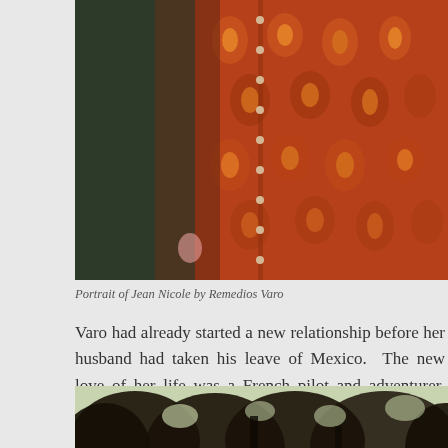[Figure (photo): Close-up detail of a painting showing ornate reddish-orange flowing fabric/robes with decorative swirling patterns and buttons, with dark green background on the left side. Portrait of Jean Nicole by Remedios Varo.]
Portrait of Jean Nicole by Remedios Varo
Varo had already started a new relationship before her husband had taken his leave of Mexico.  The new love of her life was a French pilot and adventurer, Jean Nicholl, a fellow refugee whom Péret and Varo had sheltered
[Figure (photo): Black and white or sepia photo of trees with dense foliage, canopy visible against a light background.]